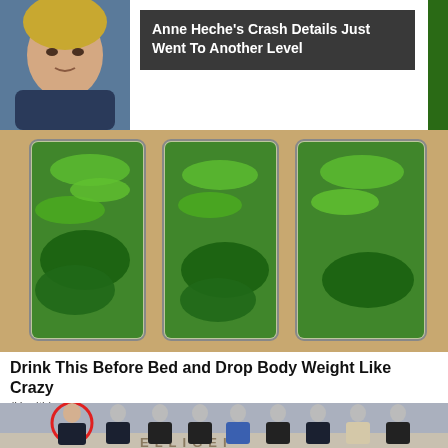[Figure (photo): Anne Heche headshot thumbnail (blonde woman) with dark overlay news headline card reading 'Anne Heche's Crash Details Just Went To Another Level']
[Figure (photo): Three tall clear glasses filled with green vegetables including cucumber slices and leafy greens, photographed on a kitchen counter]
Drink This Before Bed and Drop Body Weight Like Crazy
(Health)
[Figure (photo): Group of people in formal attire standing in what appears to be a CIA lobby with the CIA seal/logo visible at bottom. One person on the left is circled in red. Most faces are blurred/obscured.]